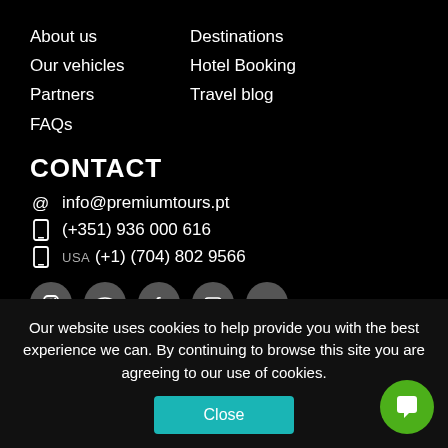About us
Our vehicles
Partners
FAQs
Destinations
Hotel Booking
Travel blog
CONTACT
info@premiumtours.pt
(+351) 936 000 616
USA (+1) (704) 802 9566
[Figure (infographic): Social media icons: Instagram, TripAdvisor, Facebook, YouTube, LinkedIn]
2022
Our website uses cookies to help provide you with the best experience we can. By continuing to browse this site you are agreeing to our use of cookies.
Close